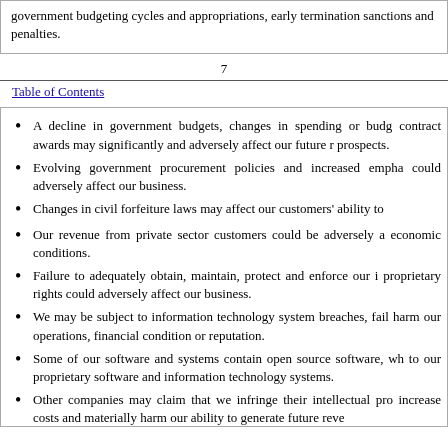government budgeting cycles and appropriations, early termination sanctions and penalties.
7
Table of Contents
A decline in government budgets, changes in spending or budgeting priorities, or delays in contract awards may significantly and adversely affect our future revenue and operating prospects.
Evolving government procurement policies and increased emphasis on cost cutting could adversely affect our business.
Changes in civil forfeiture laws may affect our customers' ability to
Our revenue from private sector customers could be adversely affected by economic conditions.
Failure to adequately obtain, maintain, protect and enforce our intellectual proprietary rights could adversely affect our business.
We may be subject to information technology system breaches, failures that harm our operations, financial condition or reputation.
Some of our software and systems contain open source software, which poses risks to our proprietary software and information technology systems.
Other companies may claim that we infringe their intellectual property, which could increase costs and materially harm our ability to generate future revenue.